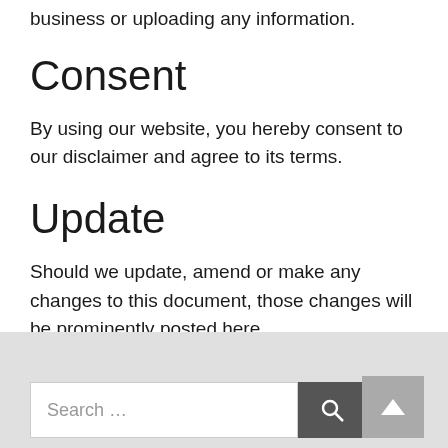business or uploading any information.
Consent
By using our website, you hereby consent to our disclaimer and agree to its terms.
Update
Should we update, amend or make any changes to this document, those changes will be prominently posted here.
Search ... [search button] [scroll to top button]